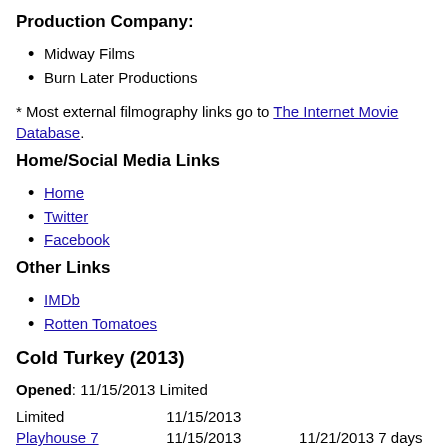Production Company:
Midway Films
Burn Later Productions
* Most external filmography links go to The Internet Movie Database.
Home/Social Media Links
Home
Twitter
Facebook
Other Links
IMDb
Rotten Tomatoes
Cold Turkey (2013)
Opened: 11/15/2013 Limited
|  | Date | Duration |
| --- | --- | --- |
| Limited | 11/15/2013 |  |
| Playhouse 7 | 11/15/2013 | 11/21/2013 7 days |